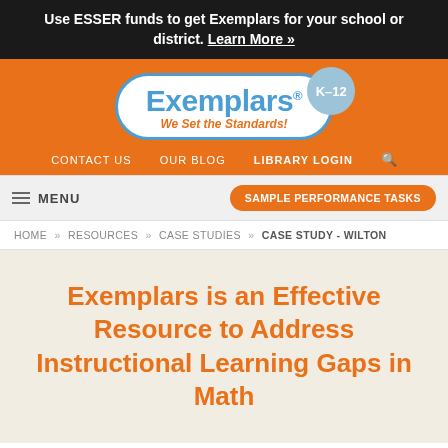Use ESSER funds to get Exemplars for your school or district. Learn More »
[Figure (logo): Exemplars K-12 logo with tagline 'We Set the Standards!' on orange background]
CONTACT US  OUR BLOG  LIBRARY LOGIN  🔍
MENU  SAMPLE PERFORMANCE TASKS
HOME » RESOURCES » CASE STUDIES » CASE STUDY - WILTON
Exemplars is an Effective Resource to Address Instructional Learning Gaps in Math